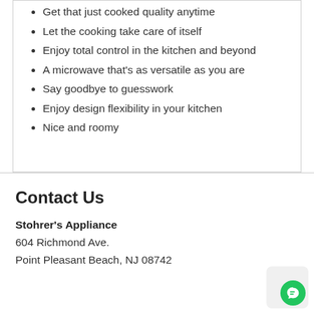Get that just cooked quality anytime
Let the cooking take care of itself
Enjoy total control in the kitchen and beyond
A microwave that's as versatile as you are
Say goodbye to guesswork
Enjoy design flexibility in your kitchen
Nice and roomy
Contact Us
Stohrer's Appliance
604 Richmond Ave.
Point Pleasant Beach, NJ 08742